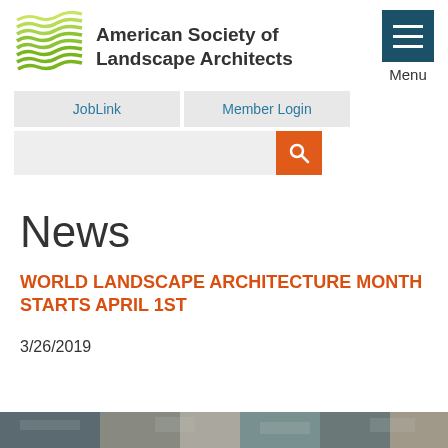[Figure (logo): American Society of Landscape Architects logo with green wave/leaf pattern and organization name]
Menu
JobLink
Member Login
News
WORLD LANDSCAPE ARCHITECTURE MONTH STARTS APRIL 1ST
3/26/2019
[Figure (photo): Bottom strip of a landscape architecture photograph]